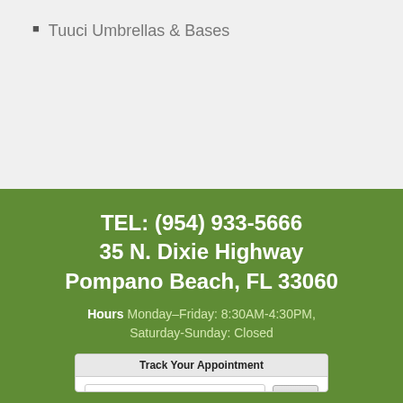Tuuci Umbrellas & Bases
TEL: (954) 933-5666
35 N. Dixie Highway
Pompano Beach, FL 33060
Hours Monday–Friday: 8:30AM-4:30PM, Saturday-Sunday: Closed
Track Your Appointment